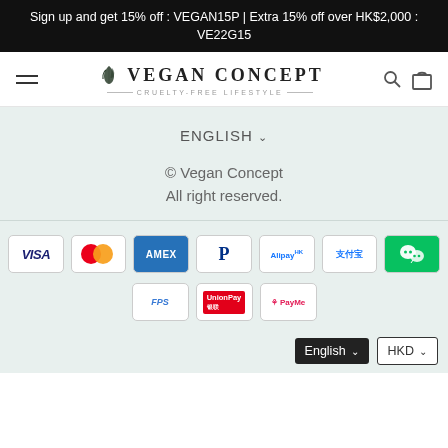Sign up and get 15% off : VEGAN15P | Extra 15% off over HK$2,000 : VE22G15
[Figure (logo): Vegan Concept logo with leaf icon, brand name VEGAN CONCEPT, tagline CRUELTY-FREE LIFESTYLE]
ENGLISH
© Vegan Concept
All right reserved.
[Figure (other): Payment method icons: VISA, Mastercard, AMEX, PayPal, Alipay HK, 支付宝, WeChat Pay, FPS, UnionPay, PayMe]
English
HKD